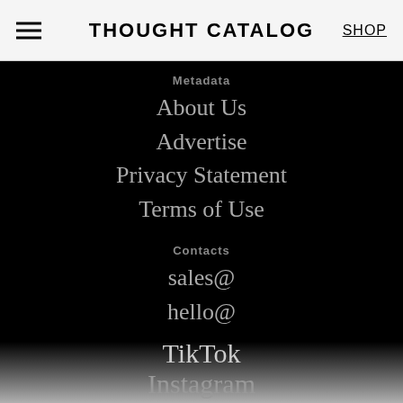THOUGHT CATALOG  SHOP
Metadata
About Us
Advertise
Privacy Statement
Terms of Use
Contacts
sales@
hello@
Social
Discord
TikTok
Instagram